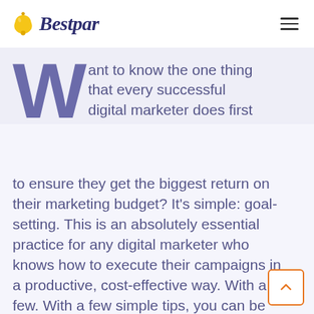Bestpar
Want to know the one thing that every successful digital marketer does first to ensure they get the biggest return on their marketing budget? It's simple: goal-setting. This is an absolutely essential practice for any digital marketer who knows how to execute their campaigns in a productive, cost-effective way. With a few. With a few simple tips, you can be doing the same in no time! In this blog, we'll walk you through the first steps every savvy digital